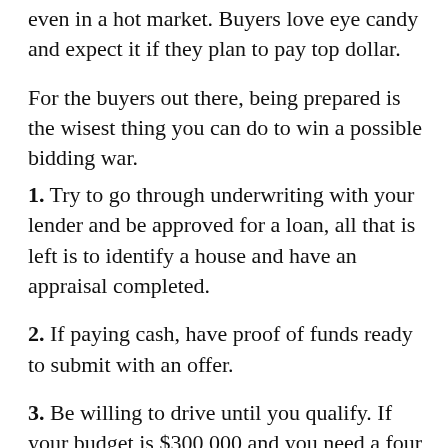even in a hot market. Buyers love eye candy and expect it if they plan to pay top dollar.
For the buyers out there, being prepared is the wisest thing you can do to win a possible bidding war.
1. Try to go through underwriting with your lender and be approved for a loan, all that is left is to identify a house and have an appraisal completed.
2. If paying cash, have proof of funds ready to submit with an offer.
3. Be willing to drive until you qualify. If your budget is $300,000 and you need a four bedroom, 3 bath home, you may need to find something outside of Wilmington to meet your